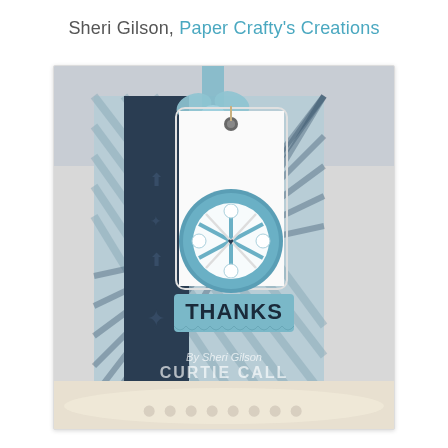Sheri Gilson, Paper Crafty's Creations
[Figure (photo): A handmade paper craft greeting card with a winter/thank you theme. The card features a teal and navy plaid patterned background, a dark navy vertical band on the left, a decorative gift tag element with a scalloped border tied with a ribbon bow at the top, a circular teal medallion with white snowflake/poinsettia die-cut embellishments, and a lower banner reading 'THANKS' in bold black letters on a striped teal/white background. The card is displayed on a decorative lace doily. Text overlay reads 'By Sheri Gilson' and 'CURTIE CALL' watermark at the bottom.]